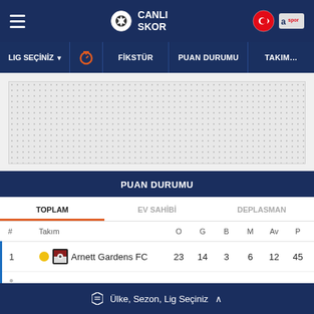CANLI SKOR
LIG SEÇİNİZ | FİKSTÜR | PUAN DURUMU | TAKIMLAR
[Figure (other): Advertisement placeholder area with dotted background]
PUAN DURUMU
TOPLAM | EV SAHİBİ | DEPLASMAN
| # | Takım | O | G | B | M | Av | P |
| --- | --- | --- | --- | --- | --- | --- | --- |
| 1 | Arnett Gardens FC | 23 | 14 | 3 | 6 | 12 | 45 |
Ülke, Sezon, Lig Seçiniz